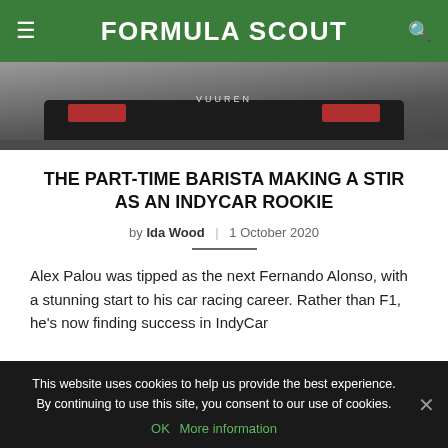FORMULA SCOUT
[Figure (photo): Racing car from behind on track, black and red livery, viewed from low angle]
THE PART-TIME BARISTA MAKING A STIR AS AN INDYCAR ROOKIE
by Ida Wood | 1 October 2020
Alex Palou was tipped as the next Fernando Alonso, with a stunning start to his car racing career. Rather than F1, he's now finding success in IndyCar
This website uses cookies to help us provide the best experience. By continuing to use this site, you consent to our use of cookies.